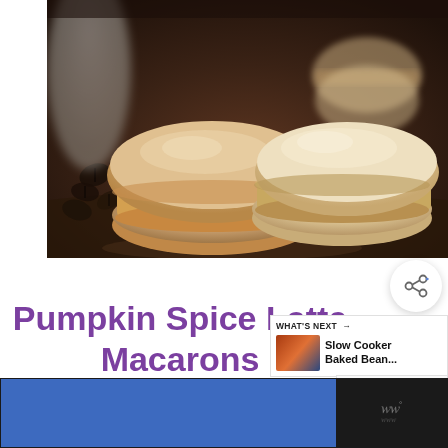[Figure (photo): Close-up photo of two pumpkin spice latte macarons on a dark wooden surface with coffee beans in the background. The macarons are beige/tan colored with cream filling.]
Pumpkin Spice Latte Macarons
[Figure (other): Share button icon (circle with share symbol)]
WHAT'S NEXT → Slow Cooker Baked Bean...
[Figure (other): reCAPTCHA logo/widget]
[Figure (other): Advertisement bar - blue rectangle and dark section with stylized W° wordmark]